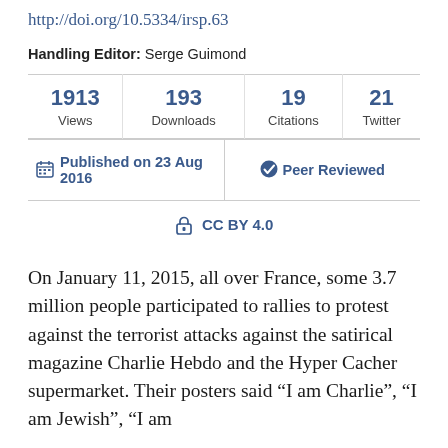http://doi.org/10.5334/irsp.63
Handling Editor: Serge Guimond
| Views | Downloads | Citations | Twitter |
| --- | --- | --- | --- |
| 1913 | 193 | 19 | 21 |
Published on 23 Aug 2016 | Peer Reviewed
CC BY 4.0
On January 11, 2015, all over France, some 3.7 million people participated to rallies to protest against the terrorist attacks against the satirical magazine Charlie Hebdo and the Hyper Cacher supermarket. Their posters said “I am Charlie”, “I am Jewish”, “I am